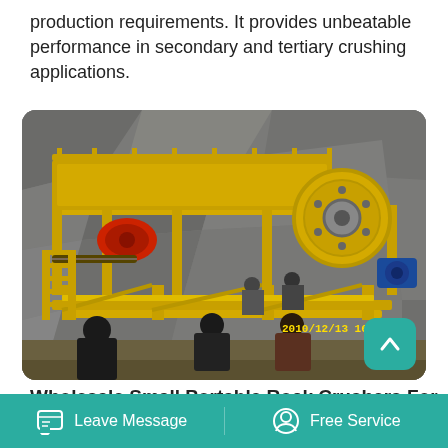production requirements. It provides unbeatable performance in secondary and tertiary crushing applications.
[Figure (photo): Yellow portable rock crushing machine mounted on a steel frame at a quarry site. Several workers stand nearby. Timestamp shows 2010/12/13 16:40.]
Wholesale Small Portable Rock Crushers For
Leave Message
Free Service